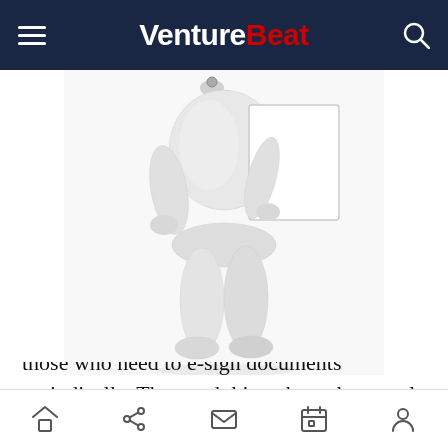VentureBeat
[Figure (illustration): 3D white figure/person holding a blank white document or sign, wearing a green tie, viewed from waist down]
Personal – There are free tools available to those who need to e-sign documents periodically. The good thing about these tools is that they also have affordable plans for those who need to sign documents more frequently. But don't expect any advanced features with these tools.
Bottom navigation bar with home, share, mail, calendar, and profile icons